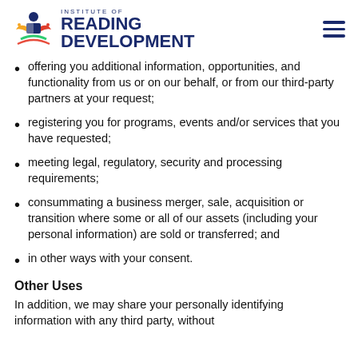Institute of Reading Development
offering you additional information, opportunities, and functionality from us or on our behalf, or from our third-party partners at your request;
registering you for programs, events and/or services that you have requested;
meeting legal, regulatory, security and processing requirements;
consummating a business merger, sale, acquisition or transition where some or all of our assets (including your personal information) are sold or transferred; and
in other ways with your consent.
Other Uses
In addition, we may share your personally identifying information with any third party, without